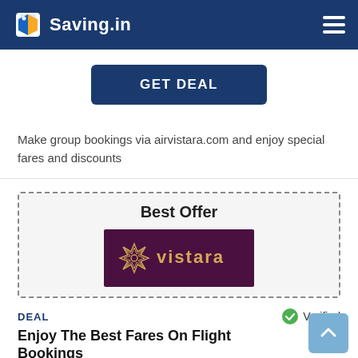Saving.in
[Figure (other): GET DEAL button]
Make group bookings via airvistara.com and enjoy special fares and discounts
[Figure (other): Best Offer card with Vistara airline logo on dark purple background, surrounded by dashed border]
DEAL
Verified
Enjoy The Best Fares On Flight Bookings